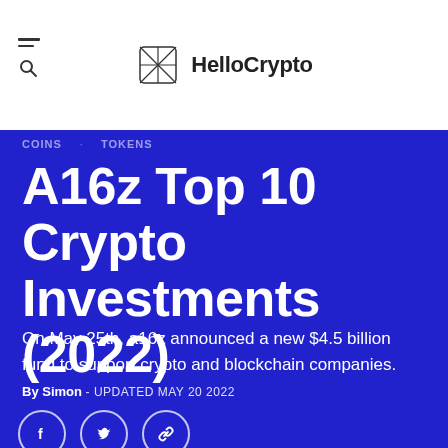HelloCrypto
COINS · TOKENS
A16z Top 10 Crypto Investments (2022)
On May 25th, a16z announced a new $4.5 billion fund to support crypto and blockchain companies.
By Simon - UPDATED MAY 20 2022